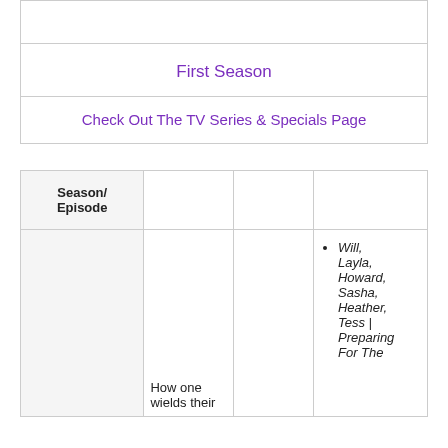|  |
| First Season |
| Check Out The TV Series & Specials Page |
| Season/
Episode |  |  |  |
| --- | --- | --- | --- |
|  | How one wields their |  | Will, Layla, Howard, Sasha, Heather, Tess | Preparing For The |